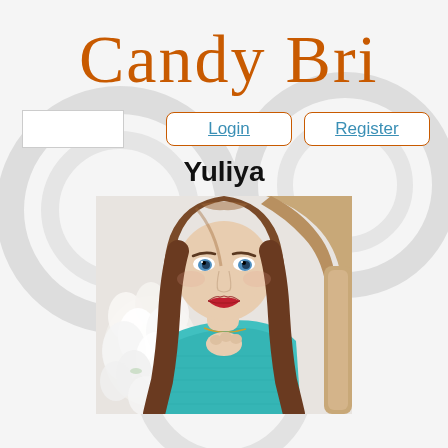[Figure (logo): Candy Brides script logo in orange/brown color]
[Figure (other): Search/input box on the left, Login and Register buttons with orange border on the right]
Yuliya
[Figure (photo): Young woman with long brown hair, blue eyes, red lips, wearing a teal lace top, posed with hand on chin in front of white flowers and an ornate chair]